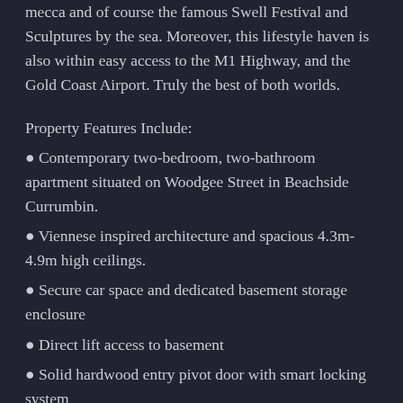mecca and of course the famous Swell Festival and Sculptures by the sea. Moreover, this lifestyle haven is also within easy access to the M1 Highway, and the Gold Coast Airport. Truly the best of both worlds.
Property Features Include:
Contemporary two-bedroom, two-bathroom apartment situated on Woodgee Street in Beachside Currumbin.
Viennese inspired architecture and spacious 4.3m-4.9m high ceilings.
Secure car space and dedicated basement storage enclosure
Direct lift access to basement
Solid hardwood entry pivot door with smart locking system
Polished hardwood flooring to hallway and internal stairs
Polished concrete floors in the kitchen, dining and living